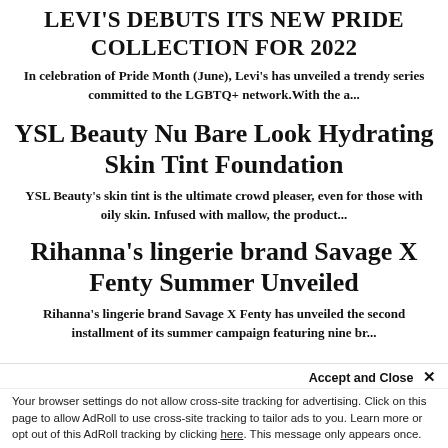LEVI'S DEBUTS ITS NEW PRIDE COLLECTION FOR 2022
In celebration of Pride Month (June), Levi's has unveiled a trendy series committed to the LGBTQ+ network.With the a...
YSL Beauty Nu Bare Look Hydrating Skin Tint Foundation
YSL Beauty's skin tint is the ultimate crowd pleaser, even for those with oily skin. Infused with mallow, the product...
Rihanna's lingerie brand Savage X Fenty Summer Unveiled
Rihanna's lingerie brand Savage X Fenty has unveiled the second installment of its summer campaign featuring nine br...
Accept and Close ✕ Your browser settings do not allow cross-site tracking for advertising. Click on this page to allow AdRoll to use cross-site tracking to tailor ads to you. Learn more or opt out of this AdRoll tracking by clicking here. This message only appears once.